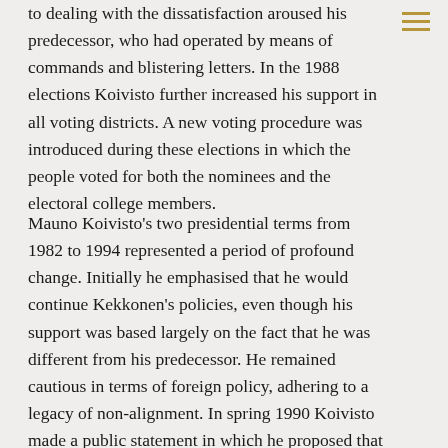to dealing with the dissatisfaction aroused his predecessor, who had operated by means of commands and blistering letters. In the 1988 elections Koivisto further increased his support in all voting districts. A new voting procedure was introduced during these elections in which the people voted for both the nominees and the electoral college members.
Mauno Koivisto's two presidential terms from 1982 to 1994 represented a period of profound change. Initially he emphasised that he would continue Kekkonen's policies, even though his support was based largely on the fact that he was different from his predecessor. He remained cautious in terms of foreign policy, adhering to a legacy of non-alignment. In spring 1990 Koivisto made a public statement in which he proposed that any Soviet citizen with Ingrian Finn ancestry be enabled to immigrate to Finland as a returnee, as a result of which approximately 30,000 Ingrian Finns – descendents of Lutheran Finns who had settled in the historical region